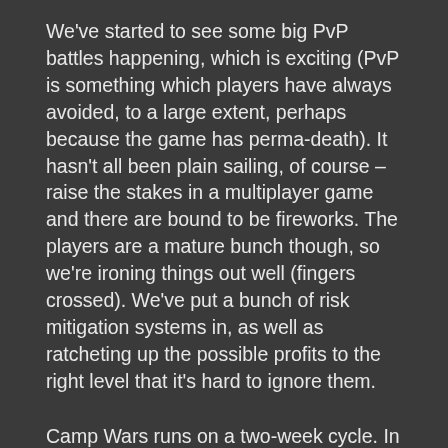We've started to see some big PvP battles happening, which is exciting (PvP is something which players have always avoided, to a large extent, perhaps because the game has perma-death). It hasn't all been plain sailing, of course – raise the stakes in a multiplayer game and there are bound to be fireworks. The players are a mature bunch though, so we're ironing things out well (fingers crossed). We've put a bunch of risk mitigation systems in, as well as ratcheting up the possible profits to the right level that it's hard to ignore them.
Camp Wars runs on a two-week cycle. In the first week, camps secretly deploy their forces to hexes under their control (for defence) or bordering on hexes they control (for attack). At the start of the second week, battles for contested hexes are scheduled, to be played within that week.
The best reason to fight is for resources. This system aims to add the motivation for PvP that Darkwind has lacked in